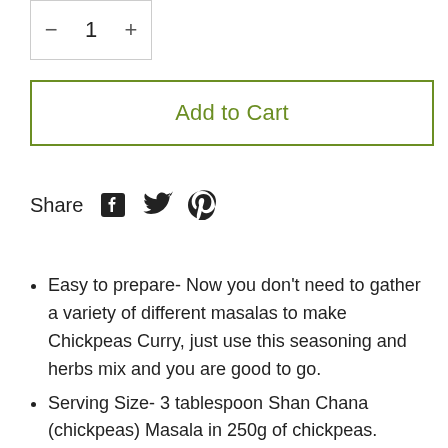− 1 +
Add to Cart
Share
[Figure (illustration): Social share icons: Facebook, Twitter, Pinterest]
Easy to prepare- Now you don't need to gather a variety of different masalas to make Chickpeas Curry, just use this seasoning and herbs mix and you are good to go.
Serving Size- 3 tablespoon Shan Chana (chickpeas) Masala in 250g of chickpeas.
Quality Control- All our products are carefully